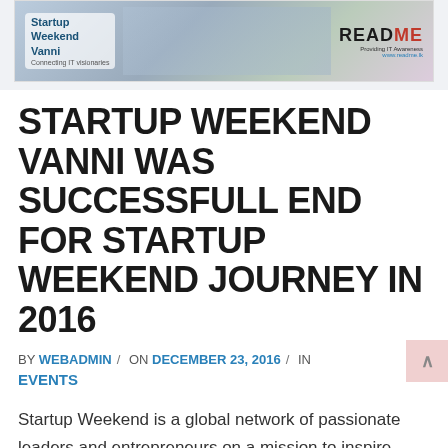[Figure (illustration): Banner image for Startup Weekend Vanni event with group photo and ReadMe branding]
STARTUP WEEKEND VANNI WAS SUCCESSFULL END FOR STARTUP WEEKEND JOURNEY IN 2016
BY WEBADMIN / ON DECEMBER 23, 2016 / IN EVENTS
Startup Weekend is a global network of passionate leaders and entrepreneurs on a mission to inspire, educate, and empower individuals, teams and communities which introduced by Techstars.